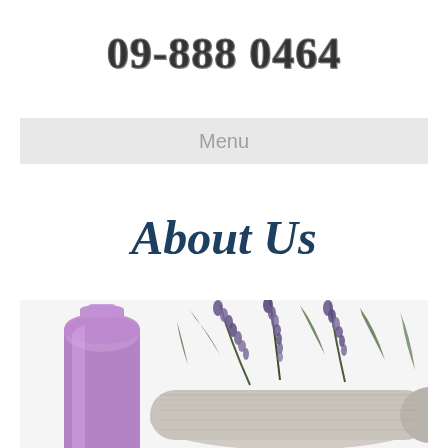09-888 0464
Menu
About Us
[Figure (photo): Spa and wellness image showing a purple frosted glass bottle and lavender sprigs bundled on a rolled towel against a white background]